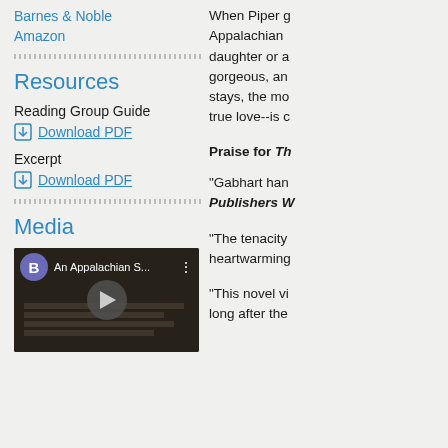Barnes & Noble
Amazon
Resources
Reading Group Guide
Download PDF
Excerpt
Download PDF
Media
[Figure (screenshot): YouTube video thumbnail for 'An Appalachian S...' with channel avatar B, play button overlay, and three-dot menu]
When Piper g Appalachian daughter or a gorgeous, an stays, the mo true love--is c
Praise for Th
"Gabhart han Publishers W
"The tenacity heartwarming
"This novel vi long after the